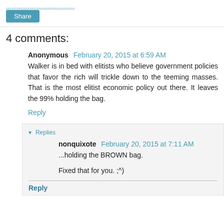Share
4 comments:
Anonymous February 20, 2015 at 6:59 AM
Walker is in bed with elitists who believe government policies that favor the rich will trickle down to the teeming masses. That is the most elitist economic policy out there. It leaves the 99% holding the bag.
Reply
Replies
nonquixote February 20, 2015 at 7:11 AM
...holding the BROWN bag.

Fixed that for you. ;^)
Reply